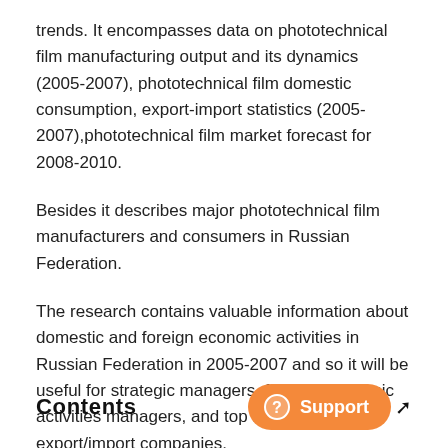trends. It encompasses data on phototechnical film manufacturing output and its dynamics (2005-2007), phototechnical film domestic consumption, export-import statistics (2005-2007),phototechnical film market forecast for 2008-2010.
Besides it describes major phototechnical film manufacturers and consumers in Russian Federation.
The research contains valuable information about domestic and foreign economic activities in Russian Federation in 2005-2007 and so it will be useful for strategic managers, foreign economic activities managers, and top managers of export/import companies.
Contents
[Figure (other): Orange rounded button with question mark icon and text 'Support', with a cursor arrow icon to the right]